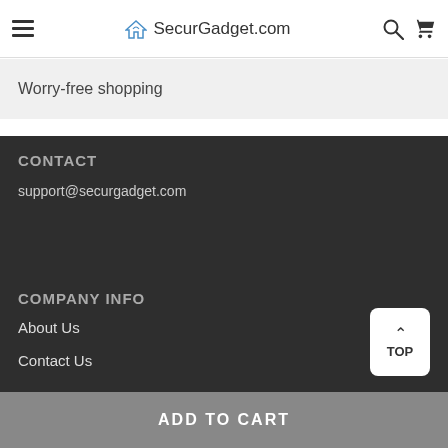SecurGadget.com
Worry-free shopping
CONTACT
support@securgadget.com
COMPANY INFO
About Us
Contact Us
ADD TO CART